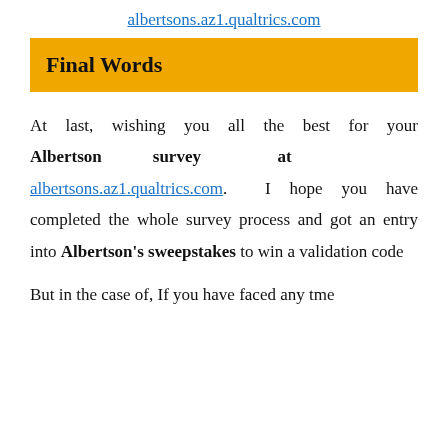albertsons.az1.qualtrics.com
Final Words
At last, wishing you all the best for your Albertson survey at albertsons.az1.qualtrics.com. I hope you have completed the whole survey process and got an entry into Albertson's sweepstakes to win a validation code
But in the case of, If you have faced any time